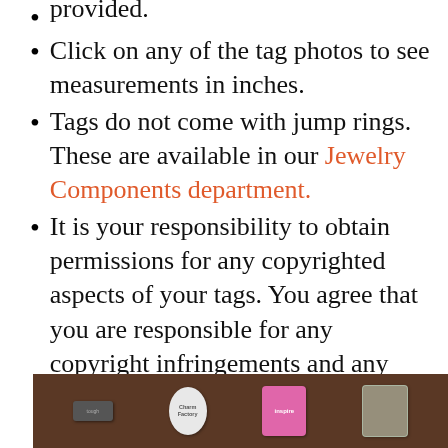provided.
Click on any of the tag photos to see measurements in inches.
Tags do not come with jump rings. These are available in our Jewelry Components department.
It is your responsibility to obtain permissions for any copyrighted aspects of your tags. You agree that you are responsible for any copyright infringements and any fines or penalties that may result. Use of designs that infringe on the intellectual property rights of others is prohibited.
[Figure (photo): Photo of several charm/jewelry tags on a dark wooden background, including a white oval tag labeled 'Charm Factory', a pink flower-shaped tag labeled 'inspire', a clear butterfly-shaped tag, and a dark rectangular tag.]